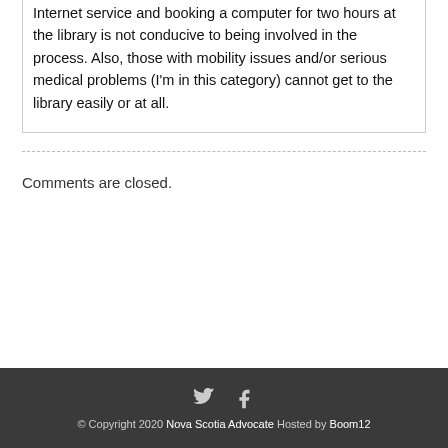Internet service and booking a computer for two hours at the library is not conducive to being involved in the process. Also, those with mobility issues and/or serious medical problems (I'm in this category) cannot get to the library easily or at all.
Comments are closed.
© Copyright 2020 Nova Scotia Advocate Hosted by Boom12